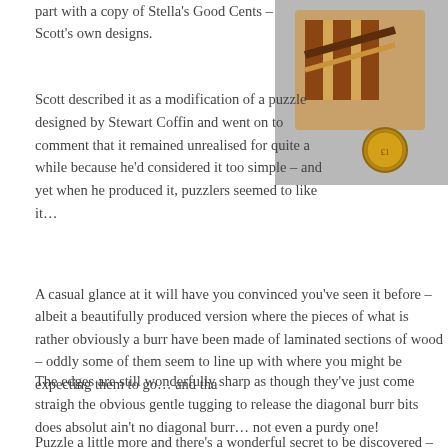part with a copy of Stella's Good Cents – one of Scott's own designs.
[Figure (photo): A wooden interlocking burr puzzle made from laminated sections of wood with contrasting light and dark wood, shown next to a coin for scale, on a grey background.]
Scott described it as a modification of a puzzle designed by Stewart Coffin and went on to comment that it remained unrealised for quite a while because he'd considered it too simple – and yet when he produced it, puzzlers seemed to like it…
A casual glance at it will have you convinced you've seen it before – albeit a beautifully produced version where the pieces of what is rather obviously a burr have been made of laminated sections of wood – oddly some of them seem to line up with where you might be expecting them to go… and tha
The edges are still wonderfully sharp as though they've just come straigh the obvious gentle tugging to release the diagonal burr bits does absolut ain't no diagonal burr… not even a purdy one!
Puzzle a little more and there's a wonderful secret to be discovered – qu